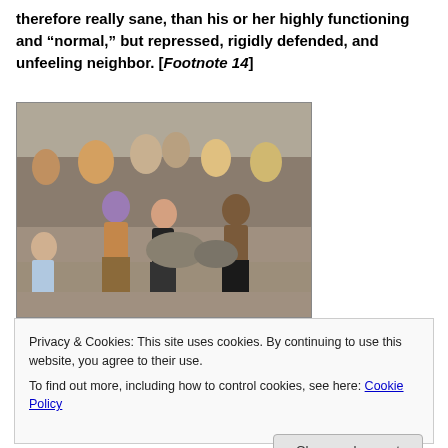therefore really sane, than his or her highly functioning and “normal,” but repressed, rigidly defended, and unfeeling neighbor. [Footnote 14]
[Figure (photo): Outdoor crowd scene showing people dancing and socializing in a public space. Several individuals in colorful and eclectic clothing are visible, including a person with purple hair and another shirtless person with dreadlocks. Spectators sit on steps in the background.]
Privacy & Cookies: This site uses cookies. By continuing to use this website, you agree to their use.
To find out more, including how to control cookies, see here: Cookie Policy
Close and accept